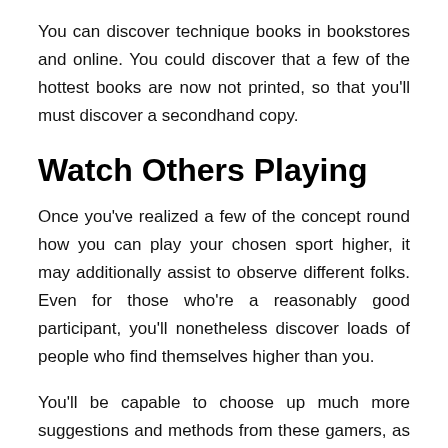You can discover technique books in bookstores and online. You could discover that a few of the hottest books are now not printed, so that you'll must discover a secondhand copy.
Watch Others Playing
Once you've realized a few of the concept round how you can play your chosen sport higher, it may additionally assist to observe different folks. Even for those who're a reasonably good participant, you'll nonetheless discover loads of people who find themselves higher than you.
You'll be capable to choose up much more suggestions and methods from these gamers, as you'll see how they navigate via a map or how they make sure selections in real-time. This may be extra useful than studying about